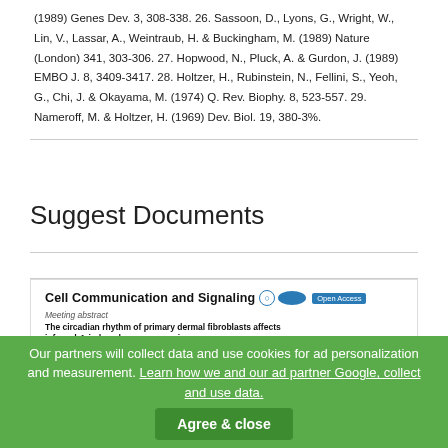(1989) Genes Dev. 3, 308-338. 26. Sassoon, D., Lyons, G., Wright, W., Lin, V., Lassar, A., Weintraub, H. & Buckingham, M. (1989) Nature (London) 341, 303-306. 27. Hopwood, N., Pluck, A. & Gurdon, J. (1989) EMBO J. 8, 3409-3417. 28. Holtzer, H., Rubinstein, N., Fellini, S., Yeoh, G., Chi, J. & Okayama, M. (1974) Q. Rev. Biophy. 8, 523-557. 29. Nameroff, M. & Holtzer, H. (1969) Dev. Biol. 19, 380-3%.
Suggest Documents
[Figure (screenshot): Preview of a document titled 'Cell Communication and Signaling' — a meeting abstract about 'The circadian rhythm of primary dermal fibroblasts affects infrared-A-induced gene expression' by T Bensorona, R Pfeiffer, F Macaluso, C Calles, E Fritsche, J Abel, J Krutmann and P Schroeder, with Open Access label.]
Our partners will collect data and use cookies for ad personalization and measurement. Learn how we and our ad partner Google, collect and use data.
Agree & close